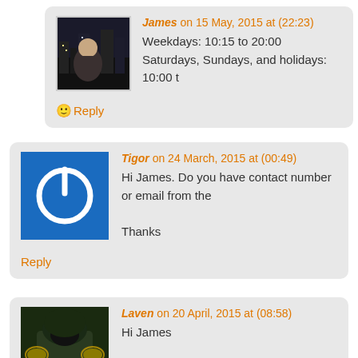James on 15 May, 2015 at (22:23)
Weekdays: 10:15 to 20:00
Saturdays, Sundays, and holidays: 10:00 t
🙂 Reply
Tigor on 24 March, 2015 at (00:49)
Hi James. Do you have contact number or email from the

Thanks
Reply
Laven on 20 April, 2015 at (08:58)
Hi James